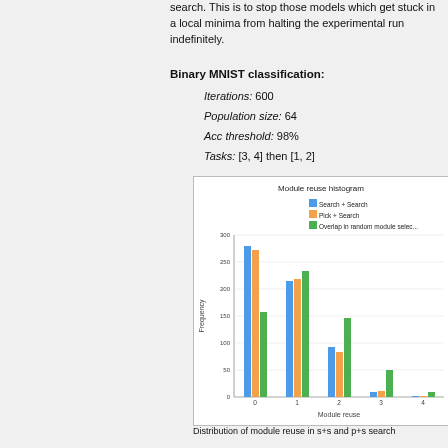search. This is to stop those models which get stuck in a local minima from halting the experimental run indefinitely.
Binary MNIST classification:
Iterations: 600
Population size: 64
Acc threshold: 98%
Tasks: [3, 4] then [1, 2]
[Figure (grouped-bar-chart): Module reuse histogram]
Distribution of module reuse in s+s and p+s search